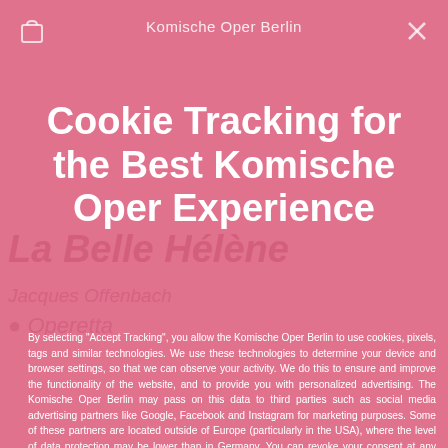Komische Oper Berlin
Cookie Tracking for the Best Komische Oper Experience
By selecting “Accept Tracking”, you allow the Komische Oper Berlin to use cookies, pixels, tags and similar technologies. We use these technologies to determine your device and browser settings, so that we can observe your activity. We do this to ensure and improve the functionality of the website, and to provide you with personalized advertising. The Komische Oper Berlin may pass on this data to third parties such as social media advertising partners like Google, Facebook and Instagram for marketing purposes. Some of these partners are located outside of Europe (particularly in the USA), where the level of data protection may be lower than in Germany. You can revoke your consent at any time, immediately effective for the future. Please see our Privacy Policy for further information. There, you can also learn how we use your data for necessary purposes (e.g. security, the shopping cart function, registration). By clicking the button “Manage Settings” you can choose which technologies you want to allow.